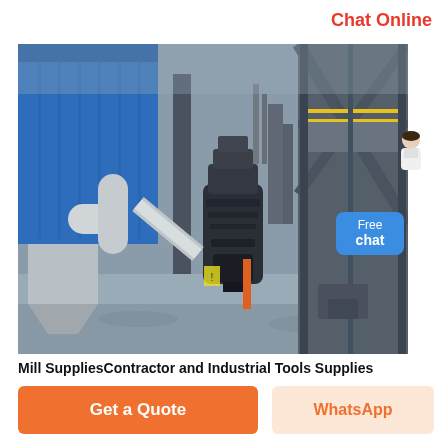Chat Online
[Figure (photo): Industrial mill facility showing large grinding/milling equipment, metal structural framework, blue corrugated metal building, yellow safety railings on an elevated platform, large diameter pipes and ducts, and a tall cylindrical vertical mill machine in the center foreground on a concrete pad. The photo is taken outdoors at an industrial plant site.]
Mill SuppliesContractor and Industrial Tools Supplies
Get a Quote
WhatsApp